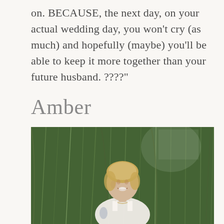on. BECAUSE, the next day, on your actual wedding day, you won't cry (as much) and hopefully (maybe) you'll be able to keep it more together than your future husband. ????
Amber
[Figure (photo): A smiling woman with blonde hair pulled back, wearing a white dress and necklace, standing in front of hanging willow tree branches with green foliage.]